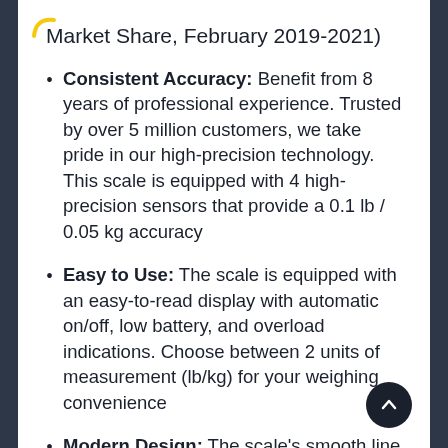Market Share, February 2019-2021)
Consistent Accuracy: Benefit from 8 years of professional experience. Trusted by over 5 million customers, we take pride in our high-precision technology. This scale is equipped with 4 high-precision sensors that provide a 0.1 lb / 0.05 kg accuracy
Easy to Use: The scale is equipped with an easy-to-read display with automatic on/off, low battery, and overload indications. Choose between 2 units of measurement (lb/kg) for your weighing convenience
Modern Design: The scale's smooth line design fits in easily with your home. With 4 colors to choose from, you can choose how